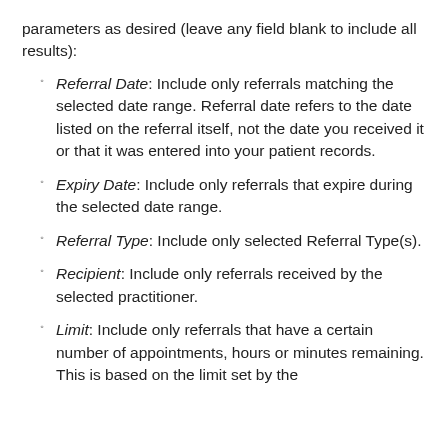parameters as desired (leave any field blank to include all results):
Referral Date: Include only referrals matching the selected date range. Referral date refers to the date listed on the referral itself, not the date you received it or that it was entered into your patient records.
Expiry Date: Include only referrals that expire during the selected date range.
Referral Type: Include only selected Referral Type(s).
Recipient: Include only referrals received by the selected practitioner.
Limit: Include only referrals that have a certain number of appointments, hours or minutes remaining. This is based on the limit set by the